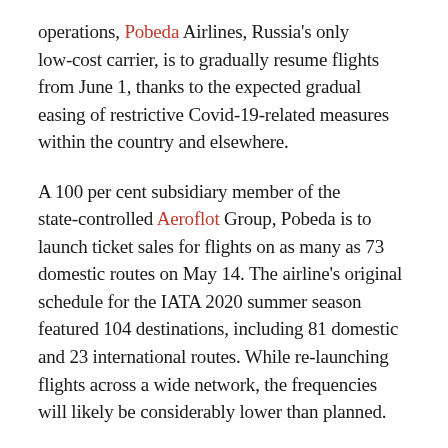operations, Pobeda Airlines, Russia's only low-cost carrier, is to gradually resume flights from June 1, thanks to the expected gradual easing of restrictive Covid-19-related measures within the country and elsewhere.
A 100 per cent subsidiary member of the state-controlled Aeroflot Group, Pobeda is to launch ticket sales for flights on as many as 73 domestic routes on May 14. The airline's original schedule for the IATA 2020 summer season featured 104 destinations, including 81 domestic and 23 international routes. While re-launching flights across a wide network, the frequencies will likely be considerably lower than planned.
To lure a fearful and cash-strapped public back into the air, the average ticket prices for the upcoming season will be almost three times lower than those for the summer season of 2019, the budget airline